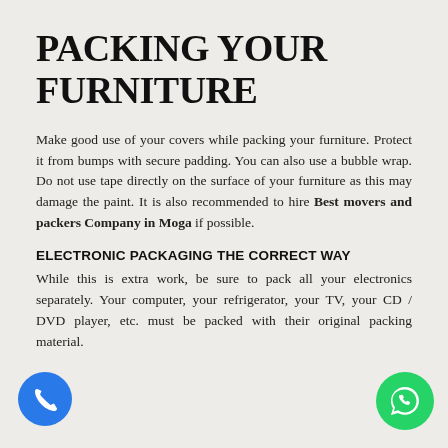PACKING YOUR FURNITURE
Make good use of your covers while packing your furniture. Protect it from bumps with secure padding. You can also use a bubble wrap. Do not use tape directly on the surface of your furniture as this may damage the paint. It is also recommended to hire Best movers and packers Company in Moga if possible.
ELECTRONIC PACKAGING THE CORRECT WAY
While this is extra work, be sure to pack all your electronics separately. Your computer, your refrigerator, your TV, your CD / DVD player, etc. must be packed with their original packing material.
[Figure (illustration): Blue circular phone call button icon at bottom left]
[Figure (illustration): Green circular WhatsApp icon at bottom right]